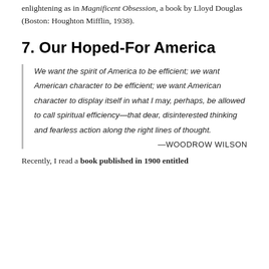enlightening as in Magnificent Obsession, a book by Lloyd Douglas (Boston: Houghton Mifflin, 1938).
7. Our Hoped-For America
We want the spirit of America to be efficient; we want American character to be efficient; we want American character to display itself in what I may, perhaps, be allowed to call spiritual efficiency—that dear, disinterested thinking and fearless action along the right lines of thought.
—WOODROW WILSON
Recently, I read a book published in 1900 entitled